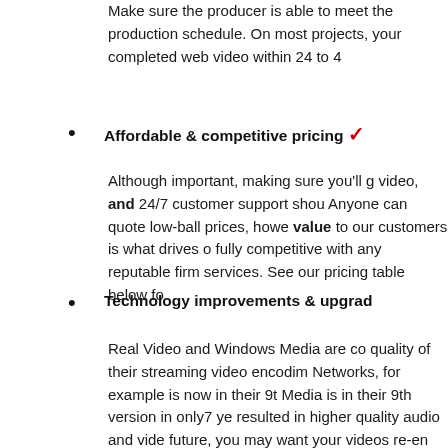Make sure the producer is able to meet the production schedule. On most projects, your completed web video within 24 to 4
Affordable & competitive pricing ✓
Although important, making sure you'll get a quality video, and 24/7 customer support should also be considered. Anyone can quote low-ball prices, however providing value to our customers is what drives our pricing. We are fully competitive with any reputable firm that offers comparable services. See our pricing table below fo
Technology improvements & upgrad
Real Video and Windows Media are constantly improving the quality of their streaming video encoding. Akamai Streaming Networks, for example is now in their 9th version and Windows Media is in their 9th version in only7 years. Each upgrade has resulted in higher quality audio and video. At some point in the future, you may want your videos re-encoded using the latest technology which delivers higher quality. We protect our customers from the high cost of having to re-encode future videos and to insure that our customers can always have the best streaming video available on their sites at no charge, we will re-encode your original videos using the latest technology at 50% of what you originally paid. This applies to any original videos we encoded, using the same connection speed selections and is good for two years from the original order. CyberTech Media was th